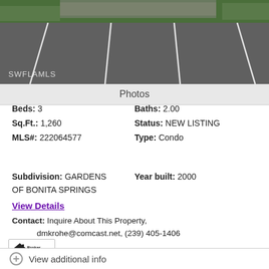[Figure (photo): Exterior photo of parking lot and building with trees/hedges in background, watermark SWFLAMLS]
Photos
Beds: 3    Baths: 2.00
Sq.Ft.: 1,260    Status: NEW LISTING
MLS#: 222064577    Type: Condo
Subdivision: GARDENS OF BONITA SPRINGS    Year built: 2000
View Details
Contact: Inquire About This Property, dmkrohe@comcast.net, (239) 405-1406
Courtesy: A Plus Realty
Request Info    Save Property
View additional info